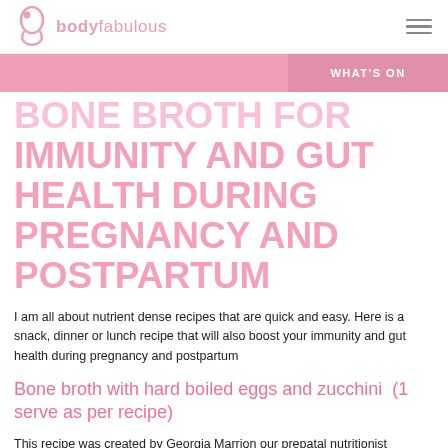bodyfabulous
WHAT'S ON
BONE BROTH FOR IMMUNITY AND GUT HEALTH DURING PREGNANCY AND POSTPARTUM
I am all about nutrient dense recipes that are quick and easy. Here is a snack, dinner or lunch recipe that will also boost your immunity and gut health during pregnancy and postpartum
Bone broth with hard boiled eggs and zucchini  (1 serve as per recipe)
This recipe was created by Georgia Marrion our prepatal nutritionist